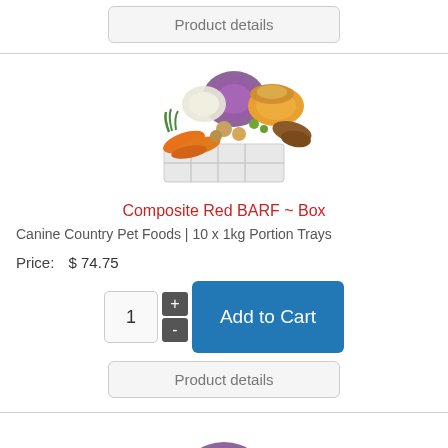[Figure (other): Product details button at top of page]
[Figure (photo): Photo of mixed raw vegetables and ingredients including carrots, cabbage, pumpkin, and portion trays for Composite Red BARF Box]
Composite Red BARF ~ Box
Canine Country Pet Foods | 10 x 1kg Portion Trays
Price:    $ 74.75
[Figure (other): Quantity selector with +/- buttons and Add to Cart button]
[Figure (other): Product details button]
[Figure (photo): Partial photo of mixed raw vegetables at bottom of page]